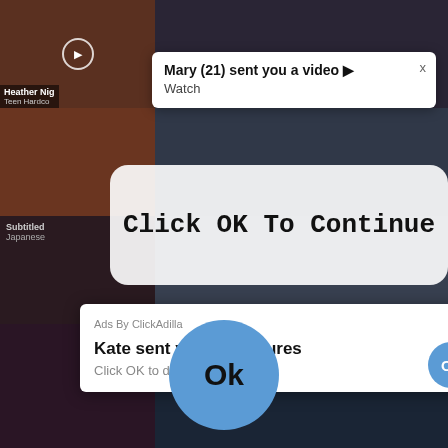[Figure (screenshot): Adult video thumbnail grid showing multiple video tiles with dark backgrounds]
Heather Nig
Teen Hardco
Mary (21) sent you a video ▶
Watch
Click OK To Continue
Subtitled
Japanese
earche...
Ads By ClickAdilla
Kate sent you (5) pictures
Click OK to display the photo
Ok
Ok